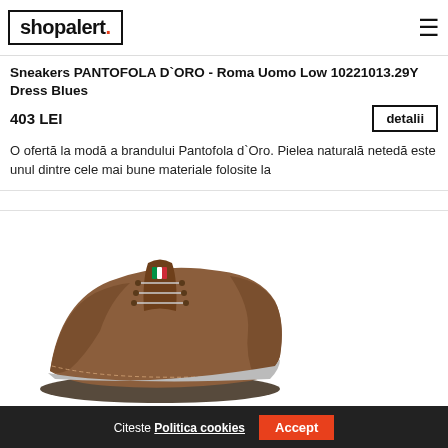shopalert.
Sneakers PANTOFOLA D`ORO - Roma Uomo Low 10221013.29Y Dress Blues
403 LEI
detalii
O ofertă la modă a brandului Pantofola d`Oro. Pielea naturală netedă este unul dintre cele mai bune materiale folosite la
[Figure (photo): Brown leather sneakers with laces and Italian flag detail on tongue, partially visible from an angle, white background]
Citeste Politica cookies  Accept